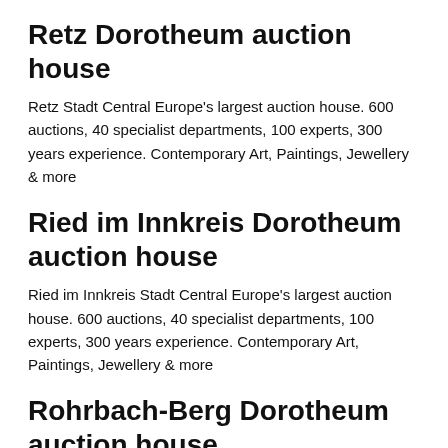Retz Dorotheum auction house
Retz Stadt Central Europe's largest auction house. 600 auctions, 40 specialist departments, 100 experts, 300 years experience. Contemporary Art, Paintings, Jewellery & more
Ried im Innkreis Dorotheum auction house
Ried im Innkreis Stadt Central Europe's largest auction house. 600 auctions, 40 specialist departments, 100 experts, 300 years experience. Contemporary Art, Paintings, Jewellery & more
Rohrbach-Berg Dorotheum auction house
Rohrbach-Berg Stadt Central Europe's largest auction house.